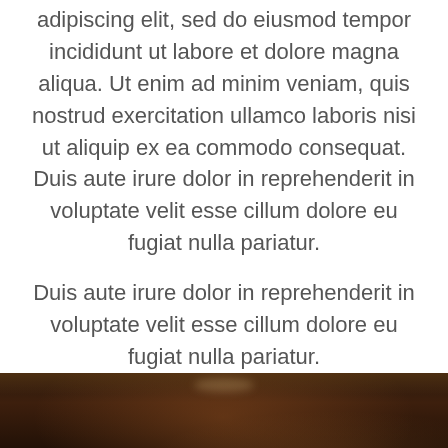adipiscing elit, sed do eiusmod tempor incididunt ut labore et dolore magna aliqua. Ut enim ad minim veniam, quis nostrud exercitation ullamco laboris nisi ut aliquip ex ea commodo consequat. Duis aute irure dolor in reprehenderit in voluptate velit esse cillum dolore eu fugiat nulla pariatur.
Duis aute irure dolor in reprehenderit in voluptate velit esse cillum dolore eu fugiat nulla pariatur.
[Figure (photo): Dark interior photo of a carpeted hallway or room with warm ceiling lights, used as background for a heading text overlay.]
Do you need a professional and elegant carpet?